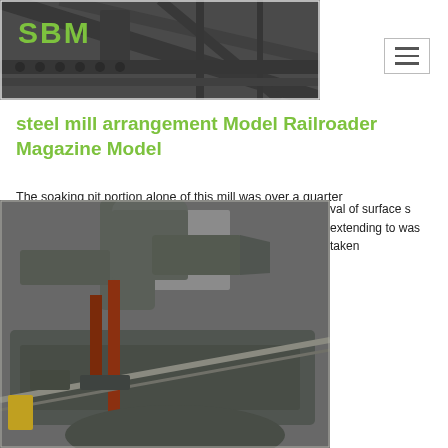[Figure (photo): Industrial steel mill machinery photo with SBM logo in green text on dark industrial background with structural steel framework]
[Figure (other): Hamburger navigation menu button — three horizontal lines in a white bordered box]
steel mill arrangement Model Railroader Magazine Model
The soaking pit portion alone of this mill was over a quarter val of surface s extending to was taken
[Figure (photo): Close-up photo of industrial steel mill machinery with large grey ductwork, pipes, and heavy mechanical equipment]